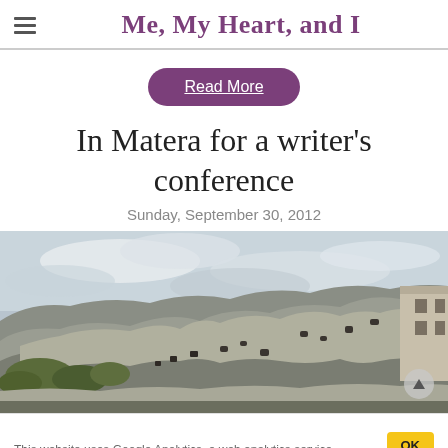Me, My Heart, and I
Read More
In Matera for a writer's conference
Sunday, September 30, 2012
[Figure (photo): Landscape photo of Matera, Italy: ancient cave dwellings and stone buildings built into a dramatic rocky hillside under a cloudy grey sky.]
This website uses Google Analytics, a web analytics service.